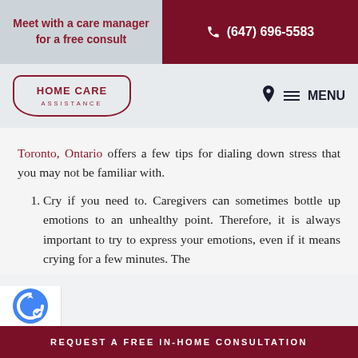Meet with a care manager for a free consult | (647) 696-5583
[Figure (logo): Home Care Assistance logo in dark red with decorative border]
Toronto, Ontario offers a few tips for dialing down stress that you may not be familiar with.
1. Cry if you need to. Caregivers can sometimes bottle up emotions to an unhealthy point. Therefore, it is always important to try to express your emotions, even if it means crying for a few minutes. The
REQUEST A FREE IN-HOME CONSULTATION